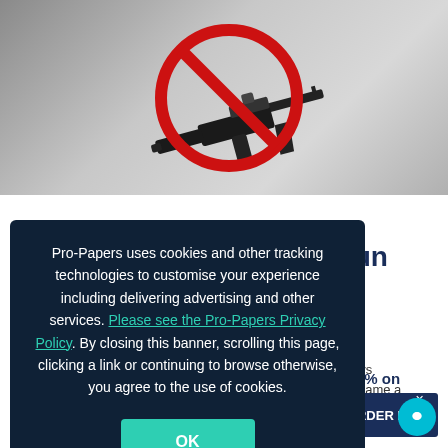[Figure (illustration): Hero image with gradient gray background showing an assault rifle with a red prohibition circle (no-gun symbol) overlaid on it]
on Gun
rol has always
his issue became a
gun laws
& save 15% on
[Figure (screenshot): Cookie consent popup overlay with dark navy background. Text reads: Pro-Papers uses cookies and other tracking technologies to customise your experience including delivering advertising and other services. Please see the Pro-Papers Privacy Policy. By closing this banner, scrolling this page, clicking a link or continuing to browse otherwise, you agree to the use of cookies. Green OK button at bottom.]
ORDER NOW ×
[Figure (illustration): Teal circular chat support button at bottom right]